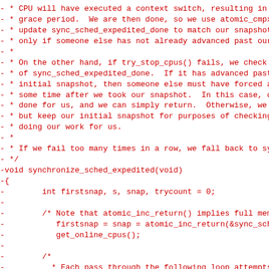- * CPU will have executed a context switch, resulting in an
- * grace period.  We are then done, so we use atomic_cmpxchg
- * update sync_sched_expedited_done to match our snapshot --
- * only if someone else has not already advanced past our sn
- *
- * On the other hand, if try_stop_cpus() fails, we check the
- * of sync_sched_expedited_done.  If it has advanced past ou
- * initial snapshot, then someone else must have forced a gr
- * some time after we took our snapshot.  In this case, our
- * done for us, and we can simply return.  Otherwise, we try
- * but keep our initial snapshot for purposes of checking fo
- * doing our work for us.
- *
- * If we fail too many times in a row, we fall back to synch
- */
-void synchronize_sched_expedited(void)
-{
-        int firstsnap, s, snap, trycount = 0;
-
-        /* Note that atomic_inc_return() implies full memory
-           firstsnap = snap = atomic_inc_return(&sync_sched_expe
-           get_online_cpus();
-
-        /*
-          * Each pass through the following loop attempts to f